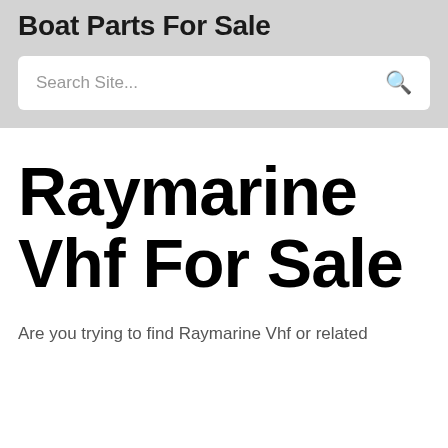Boat Parts For Sale
Raymarine Vhf For Sale
Are you trying to find Raymarine Vhf or related